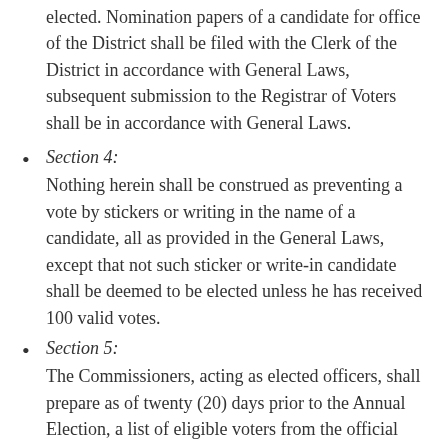elected. Nomination papers of a candidate for office of the District shall be filed with the Clerk of the District in accordance with General Laws, subsequent submission to the Registrar of Voters shall be in accordance with General Laws.
Section 4: Nothing herein shall be construed as preventing a vote by stickers or writing in the name of a candidate, all as provided in the General Laws, except that not such sticker or write-in candidate shall be deemed to be elected unless he has received 100 valid votes.
Section 5: The Commissioners, acting as elected officers, shall prepare as of twenty (20) days prior to the Annual Election, a list of eligible voters from the official voting list of the Town of Sudbury as of that time. This list will remain closed until after the Annual Meeting of the District. The list will then be